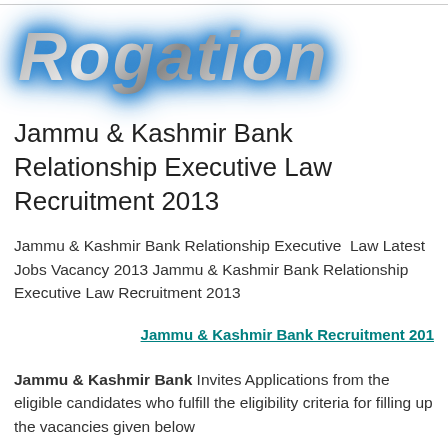[Figure (logo): Rogation logo in large italic bold text with metallic silver gradient and blue glow effect]
Jammu & Kashmir Bank Relationship Executive Law Recruitment 2013
Jammu & Kashmir Bank Relationship Executive  Law Latest Jobs Vacancy 2013 Jammu & Kashmir Bank Relationship Executive Law Recruitment 2013
Jammu & Kashmir Bank Recruitment 201
Jammu & Kashmir Bank Invites Applications from the eligible candidates who fulfill the eligibility criteria for filling up the vacancies given below